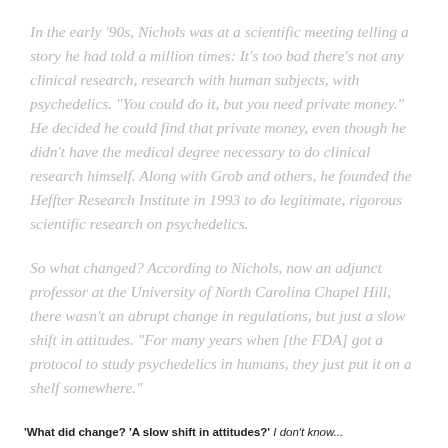In the early '90s, Nichols was at a scientific meeting telling a story he had told a million times: It's too bad there's not any clinical research, research with human subjects, with psychedelics. "You could do it, but you need private money." He decided he could find that private money, even though he didn't have the medical degree necessary to do clinical research himself. Along with Grob and others, he founded the Heffter Research Institute in 1993 to do legitimate, rigorous scientific research on psychedelics.
So what changed? According to Nichols, now an adjunct professor at the University of North Carolina Chapel Hill, there wasn't an abrupt change in regulations, but just a slow shift in attitudes. "For many years when [the FDA] got a protocol to study psychedelics in humans, they just put it on a shelf somewhere."
'What did change? 'A slow shift in attitudes?' I don't know...